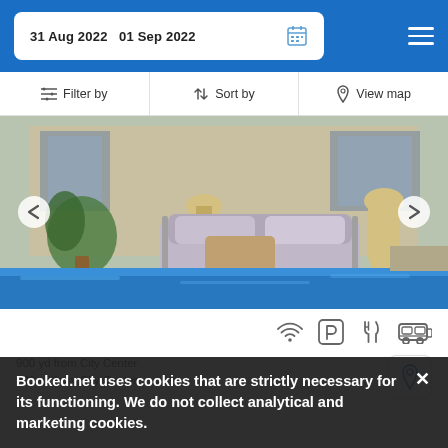31 Aug 2022  01 Sep 2022
Filter by  Sort by  View map
[Figure (photo): Outdoor hotel courtyard with wrought-iron sofa, white cushions, decorative lanterns, and a small blue swimming pool in the foreground]
900 yd from City Center
900 yd from City Center
Booked.net uses cookies that are strictly necessary for its functioning. We do not collect analytical and marketing cookies.